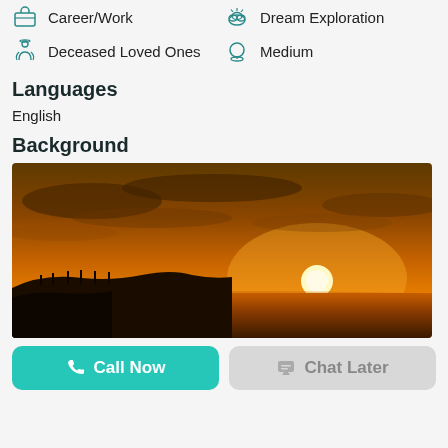Career/Work
Dream Exploration
Deceased Loved Ones
Medium
Languages
English
Background
[Figure (photo): Sunset over a beach with orange and golden sky, sun on the horizon reflecting over the water, silhouette of coastline.]
Call Now
Chat Later